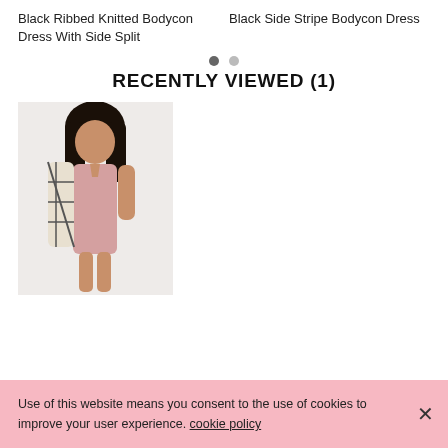Black Ribbed Knitted Bodycon Dress With Side Split
Black Side Stripe Bodycon Dress
RECENTLY VIEWED (1)
[Figure (photo): Model wearing a pink/mauve sleeveless bodycon mini dress with a plaid jacket draped over her arm, standing against a light background.]
Use of this website means you consent to the use of cookies to improve your user experience. cookie policy